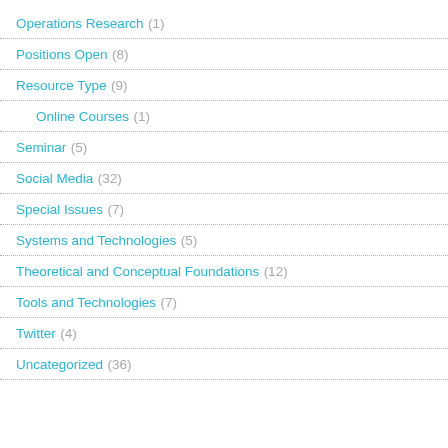Operations Research (1)
Positions Open (8)
Resource Type (9)
Online Courses (1)
Seminar (5)
Social Media (32)
Special Issues (7)
Systems and Technologies (5)
Theoretical and Conceptual Foundations (12)
Tools and Technologies (7)
Twitter (4)
Uncategorized (36)